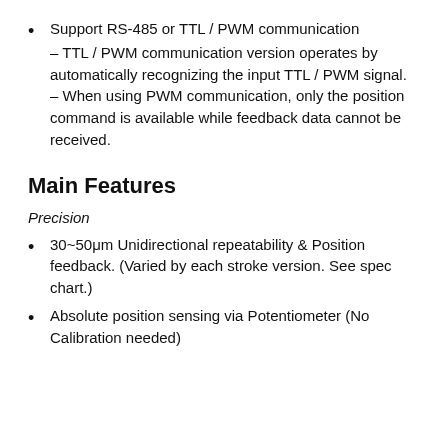Support RS-485 or TTL / PWM communication – TTL / PWM communication version operates by automatically recognizing the input TTL / PWM signal. – When using PWM communication, only the position command is available while feedback data cannot be received.
Main Features
Precision
30~50μm Unidirectional repeatability & Position feedback. (Varied by each stroke version. See spec chart.)
Absolute position sensing via Potentiometer (No Calibration needed)